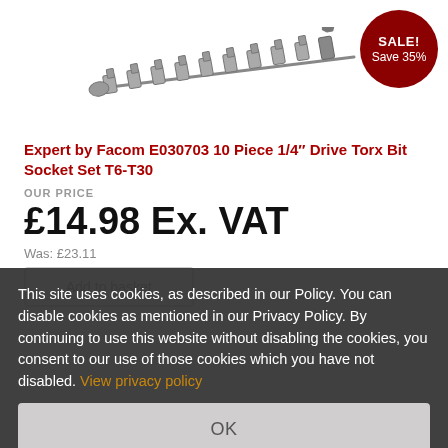[Figure (photo): Product image of Expert by Facom E030703 10 Piece 1/4 inch Drive Torx Bit Socket Set T6-T30, showing a row of torx bit sockets on a rail]
[Figure (other): Red circular SALE badge showing SALE! Save 35%]
Expert by Facom E030703 10 Piece 1/4" Drive Torx Bit Socket Set T6-T30
OUR PRICE
£14.98 Ex. VAT
Was: £23.11
Add to basket
This site uses cookies, as described in our Policy. You can disable cookies as mentioned in our Privacy Policy. By continuing to use this website without disabling the cookies, you consent to our use of those cookies which you have not disabled. View privacy policy
OK